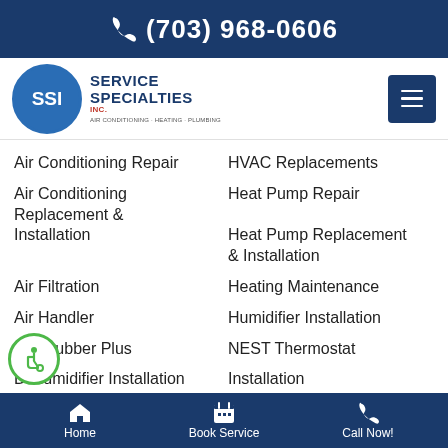(703) 968-0606
[Figure (logo): Service Specialties Inc. SSI logo with blue circle and company name]
Air Conditioning Repair
HVAC Replacements
Air Conditioning Replacement & Installation
Heat Pump Repair
Heat Pump Replacement & Installation
Air Filtration
Heating Maintenance
Air Handler
Humidifier Installation
Scrubber Plus
NEST Thermostat Installation
Dehumidifier Installation
Installation
Home   Book Service   Call Now!